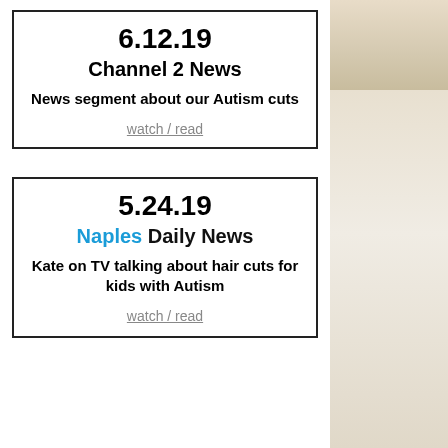6.12.19
Channel 2 News
News segment about our Autism cuts
watch / read
5.24.19
Naples Daily News
Kate on TV talking about hair cuts for kids with Autism
watch / read
[Figure (photo): Photo of a room with curtains and colorful decorations visible on the right side of the page]